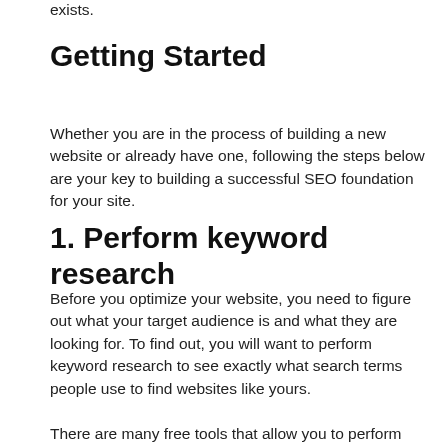exists.
Getting Started
Whether you are in the process of building a new website or already have one, following the steps below are your key to building a successful SEO foundation for your site.
1. Perform keyword research
Before you optimize your website, you need to figure out what your target audience is and what they are looking for. To find out, you will want to perform keyword research to see exactly what search terms people use to find websites like yours.
There are many free tools that allow you to perform keyword research on your own. Google's Keyword Planner shows you the average monthly search volume for certain search